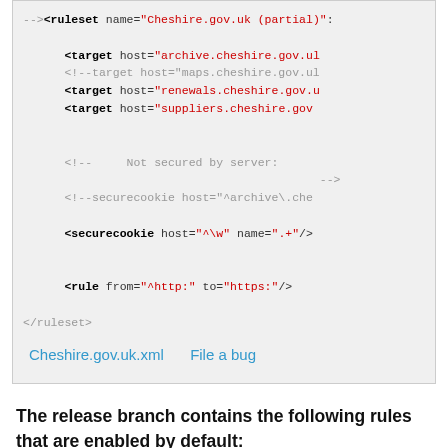[Figure (screenshot): Code block showing XML ruleset snippet for Cheshire.gov.uk with target, securecookie, and rule elements, followed by file links.]
The release branch contains the following rules that are enabled by default:
[Figure (screenshot): Bottom bordered box (partial, cut off at page bottom)]